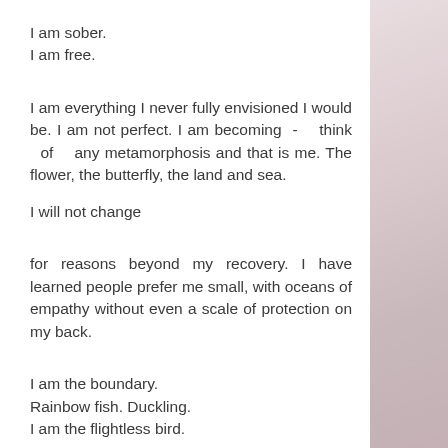I am sober.
I am free.
I am everything I never fully envisioned I would be. I am not perfect. I am becoming - think of any metamorphosis and that is me. The flower, the butterfly, the land and sea.
I will not change
for reasons beyond my recovery. I have learned people prefer me small, with oceans of empathy without even a scale of protection on my back.
I am the boundary.
Rainbow fish. Duckling.
I am the flightless bird.